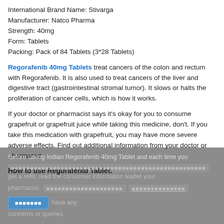International Brand Name: Stivarga
Manufacturer: Natco Pharma
Strength: 40mg
Form: Tablets
Packing: Pack of 84 Tablets (3*28 Tablets)
Regorafenib 40mg Tablets treat cancers of the colon and rectum with Regorafenib. It is also used to treat cancers of the liver and digestive tract (gastrointestinal stromal tumor). It slows or halts the proliferation of cancer cells, which is how it works.
If your doctor or pharmacist says it's okay for you to consume grapefruit or grapefruit juice while taking this medicine, don't. If you take this medication with grapefruit, you may have more severe adverse effects. Find out additional information from your doctor or pharmacist.
How to use Regorafenib Tablet:
Before taking Indian Regorafenib 40mg Tablet and each time you get a refill, read the consumer information leaflet your pharmacist. [redacted text] have any concerns or queries.